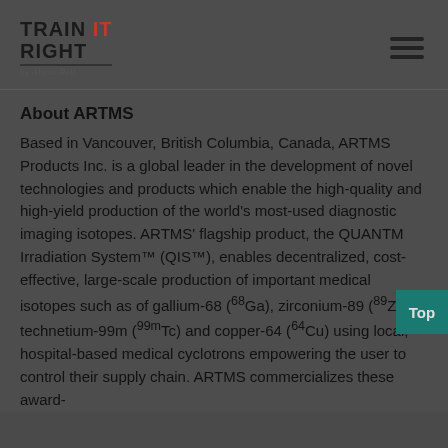Train It Right by Alicia Bell — navigation header with logo and hamburger menu
About ARTMS
Based in Vancouver, British Columbia, Canada, ARTMS Products Inc. is a global leader in the development of novel technologies and products which enable the high-quality and high-yield production of the world's most-used diagnostic imaging isotopes. ARTMS' flagship product, the QUANTM Irradiation System™ (QIS™), enables decentralized, cost-effective, large-scale production of important medical isotopes such as of gallium-68 (68Ga), zirconium-89 (89Zr), technetium-99m (99mTc) and copper-64 (64Cu) using local, hospital-based medical cyclotrons empowering the user to control their supply chain. ARTMS commercializes these award-